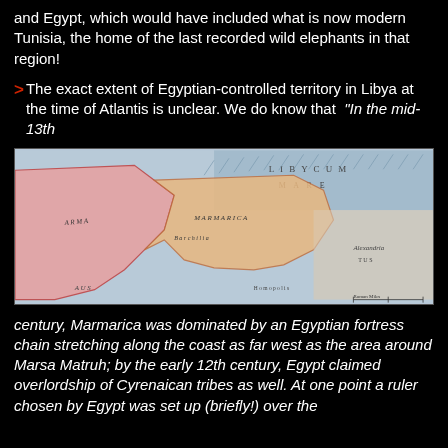and Egypt, which would have included what is now modern Tunisia, the home of the last recorded wild elephants in that region!
>The exact extent of Egyptian-controlled territory in Libya at the time of Atlantis is unclear. We do know that “In the mid-13th
[Figure (map): Historical map of Libya/North Africa region showing colored territories including Marmarica and surrounding areas, with 'LIBYCUM MARE' labeled on the sea, and Alexandria visible on the right side. Pink and orange colored regions indicate different controlled territories.]
century, Marmarica was dominated by an Egyptian fortress chain stretching along the coast as far west as the area around Marsa Matruh; by the early 12th century, Egypt claimed overlordship of Cyrenaican tribes as well. At one point a ruler chosen by Egypt was set up (briefly!) over the